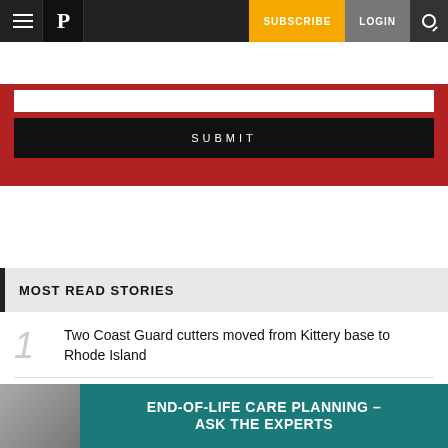Navigation bar with hamburger menu, P logo, SUBSCRIBE, LOGIN, and search icon
[Figure (screenshot): Red form area with a white input field and a black SUBMIT button]
MOST READ STORIES
Two Coast Guard cutters moved from Kittery base to Rhode Island
Maine Voices: Short-term rental proposal
[Figure (infographic): Teal advertisement banner reading END-OF-LIFE CARE PLANNING - ASK THE EXPERTS with a photo of an elderly couple]